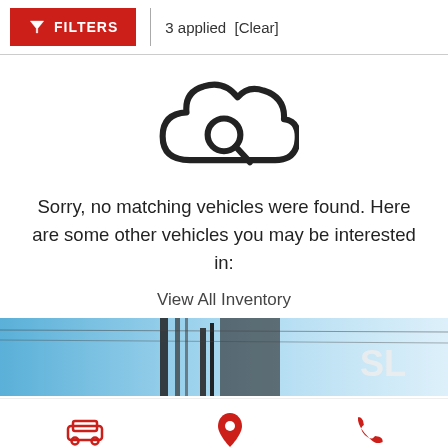[Figure (screenshot): Filter bar with red FILTERS button showing funnel icon, vertical divider, and '3 applied [Clear]' text]
[Figure (illustration): Cloud with magnifying glass search icon, outline style, centered on white background]
Sorry, no matching vehicles were found. Here are some other vehicles you may be interested in:
View All Inventory
[Figure (photo): Banner photo showing a vehicle (RV/trailer) against a blue sky, partial text 'SL' visible]
[Figure (infographic): Bottom navigation bar with three items: car icon labeled Inventory, map pin icon labeled Get Directions, phone icon labeled Call Us — all in red]